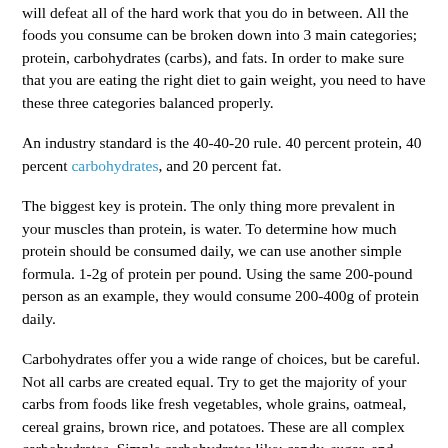will defeat all of the hard work that you do in between. All the foods you consume can be broken down into 3 main categories; protein, carbohydrates (carbs), and fats. In order to make sure that you are eating the right diet to gain weight, you need to have these three categories balanced properly.
An industry standard is the 40-40-20 rule. 40 percent protein, 40 percent carbohydrates, and 20 percent fat.
The biggest key is protein. The only thing more prevalent in your muscles than protein, is water. To determine how much protein should be consumed daily, we can use another simple formula. 1-2g of protein per pound. Using the same 200-pound person as an example, they would consume 200-400g of protein daily.
Carbohydrates offer you a wide range of choices, but be careful. Not all carbs are created equal. Try to get the majority of your carbs from foods like fresh vegetables, whole grains, oatmeal, cereal grains, brown rice, and potatoes. These are all complex carbohydrates. Simple carbohydrates like; candy, sugar, and white bread are not